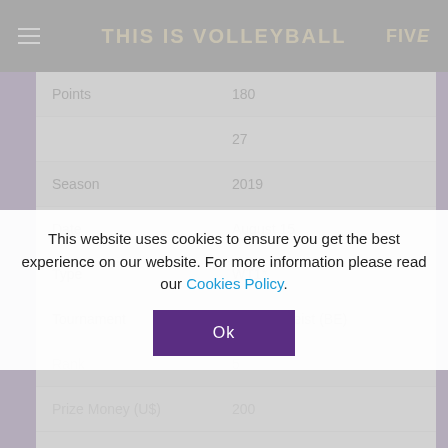THIS IS VOLLEYBALL
| Field | Value |
| --- | --- |
| Points | 180 |
|  | 27 |
| Season | 2019 |
| Date | August 15 |
| Type | WT1* |
| Tournament | Knokke-Heist (BE) |
| Rank | 5 |
| Prize Money (U$) | 200 |
This website uses cookies to ensure you get the best experience on our website. For more information please read our Cookies Policy.